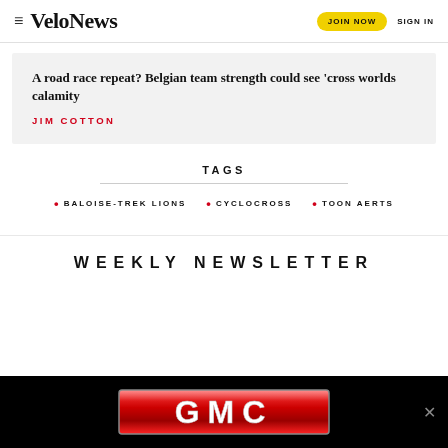VeloNews | JOIN NOW | SIGN IN
A road race repeat? Belgian team strength could see 'cross worlds calamity
JIM COTTON
TAGS
BALOISE-TREK LIONS
CYCLOCROSS
TOON AERTS
WEEKLY NEWSLETTER
[Figure (logo): GMC logo advertisement banner on black background]